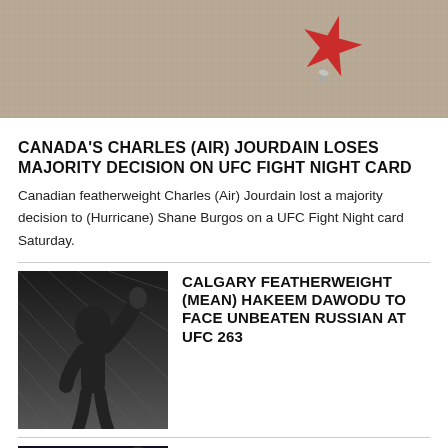[Figure (photo): Close-up photo of a red star pin/badge on a textured fabric background]
CANADA'S CHARLES (AIR) JOURDAIN LOSES MAJORITY DECISION ON UFC FIGHT NIGHT CARD
Canadian featherweight Charles (Air) Jourdain lost a majority decision to (Hurricane) Shane Burgos on a UFC Fight Night card Saturday.
[Figure (photo): MMA fighter celebrating with arm raised inside a chain-link octagon cage]
CALGARY FEATHERWEIGHT (MEAN) HAKEEM DAWODU TO FACE UNBEATEN RUSSIAN AT UFC 263
[Figure (photo): MMA fighter posing with gloves raised in an arena setting]
IN LAWSUIT, WOMAN ALLEGES CONOR MCGREGOR ASSAULTED HER